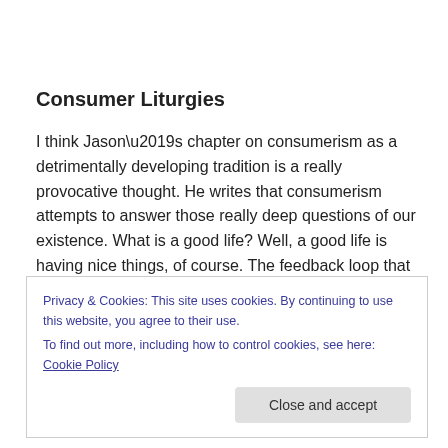Consumer Liturgies
I think Jason’s chapter on consumerism as a detrimentally developing tradition is a really provocative thought. He writes that consumerism attempts to answer those really deep questions of our existence. What is a good life? Well, a good life is having nice things, of course. The feedback loop that consumerism gives us places our salvation in
Privacy & Cookies: This site uses cookies. By continuing to use this website, you agree to their use.
To find out more, including how to control cookies, see here: Cookie Policy
Close and accept